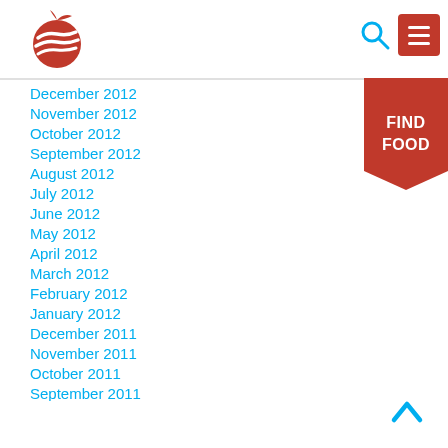[Figure (logo): Red apple logo with white stripe pattern]
[Figure (other): Search icon (blue magnifying glass) and red menu button with hamburger icon]
[Figure (other): Red ribbon banner with white text FIND FOOD]
December 2012
November 2012
October 2012
September 2012
August 2012
July 2012
June 2012
May 2012
April 2012
March 2012
February 2012
January 2012
December 2011
November 2011
October 2011
September 2011